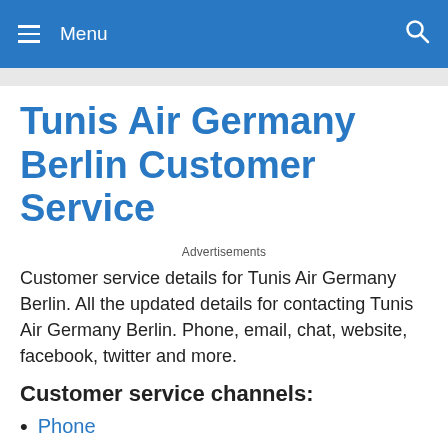Menu
Tunis Air Germany Berlin Customer Service
Advertisements
Customer service details for Tunis Air Germany Berlin. All the updated details for contacting Tunis Air Germany Berlin. Phone, email, chat, website, facebook, twitter and more.
Customer service channels:
Phone